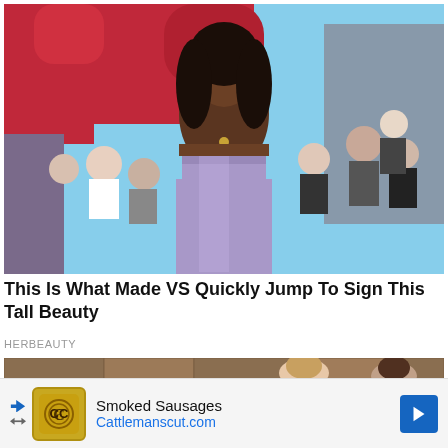[Figure (photo): A tall woman in a strapless lavender/silver gown posing at what appears to be a red carpet event with a crowd in the background and red banners. She wears a necklace and has long curly hair.]
This Is What Made VS Quickly Jump To Sign This Tall Beauty
HERBEAUTY
[Figure (photo): Two people at what appears to be an indoor or outdoor venue with stone wall background, partially visible.]
Smoked Sausages Cattlemanscut.com